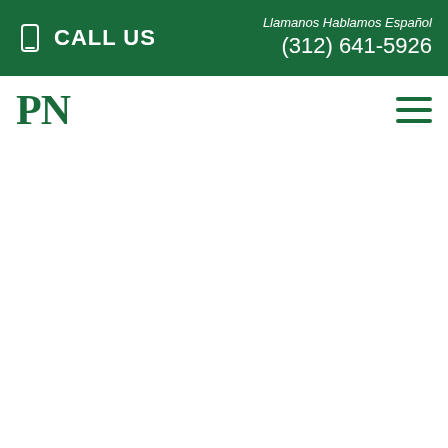CALL US  Llamanos Hablamos Español (312) 641-5926
[Figure (logo): PN law firm logo in green serif font]
[Figure (other): Hamburger menu icon with three horizontal green lines]